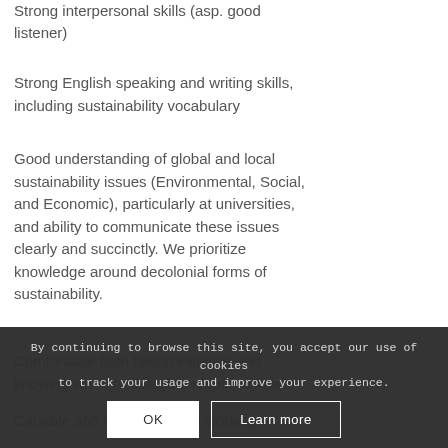Strong interpersonal skills (asp. good listener)
Strong English speaking and writing skills, including sustainability vocabulary
Good understanding of global and local sustainability issues (Environmental, Social, and Economic), particularly at universities, and ability to communicate these issues clearly and succinctly. We prioritize knowledge around decolonial forms of sustainability.
Comfortable both taking initiative and knowing when to delegate responsibilities
Capable and appreciative of working
By continuing to browse this site, you accept our use of cookies to track your usage and improve your experience.